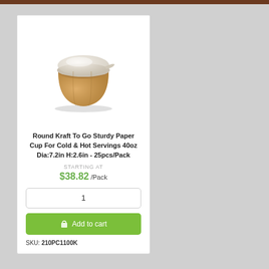[Figure (photo): Round kraft paper cup with clear plastic lid, viewed from a slight top-down angle. The cup is brown/tan colored with a transparent lid.]
Round Kraft To Go Sturdy Paper Cup For Cold & Hot Servings 40oz Dia:7.2in H:2.6in - 25pcs/Pack
STARTING AT
$38.82 /Pack
1
Add to cart
SKU: 210PC1100K